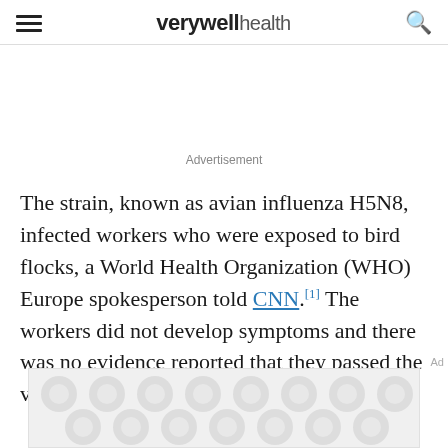verywell health
Advertisement
The strain, known as avian influenza H5N8, infected workers who were exposed to bird flocks, a World Health Organization (WHO) Europe spokesperson told CNN. [1] The workers did not develop symptoms and there was no evidence reported that they passed the virus on to other people